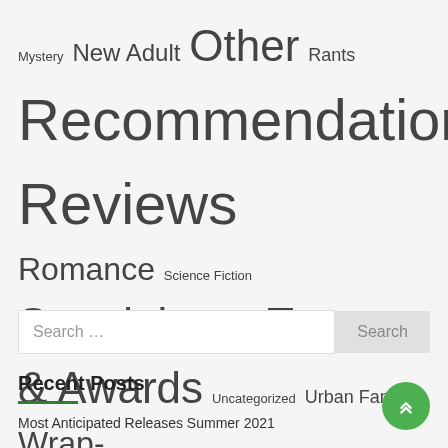Mystery New Adult Other Rants Recommendations Reviews Romance Science Fiction Standalones Tags & Awards Uncategorized Urban Fantasy Wrap-Ups Young Adult
Search …
Recent Posts
Most Anticipated Releases Summer 2021